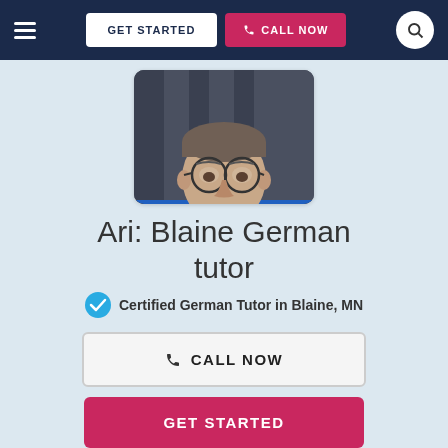GET STARTED  CALL NOW
[Figure (photo): Portrait photo of Ari, a middle-aged man with round glasses and short gray-brown hair, wearing a blue shirt, smiling slightly]
Ari: Blaine German tutor
✓ Certified German Tutor in Blaine, MN
CALL NOW
GET STARTED